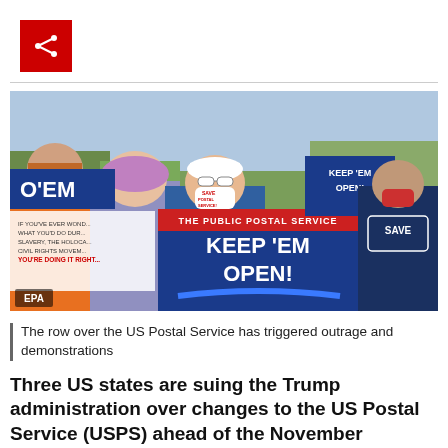[Figure (logo): Red share button with share icon]
[Figure (photo): Protest photo showing demonstrators holding signs reading KEEP 'EM OPEN and SAVE POSTAL SERVICE, with masks on, protesting changes to the US Postal Service. An EPA watermark is visible in the bottom left corner.]
The row over the US Postal Service has triggered outrage and demonstrations
Three US states are suing the Trump administration over changes to the US Postal Service (USPS) ahead of the November election.